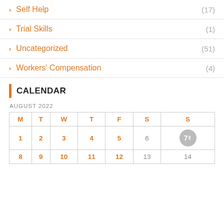Self Help (17)
Trial Skills (1)
Uncategorized (51)
Workers' Compensation (4)
CALENDAR
AUGUST 2022
| M | T | W | T | F | S | S |
| --- | --- | --- | --- | --- | --- | --- |
| 1 | 2 | 3 | 4 | 5 | 6 | 7 |
| 8 | 9 | 10 | 11 | 12 | 13 | 14 |